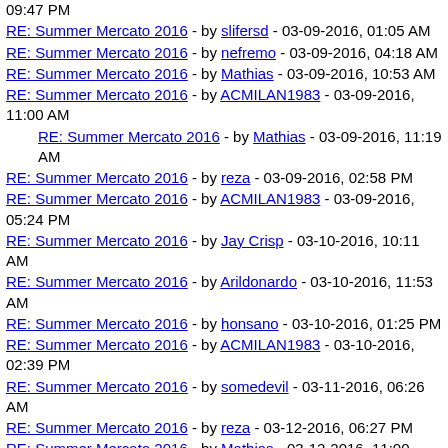09:47 PM
RE: Summer Mercato 2016 - by slifersd - 03-09-2016, 01:05 AM
RE: Summer Mercato 2016 - by nefremo - 03-09-2016, 04:18 AM
RE: Summer Mercato 2016 - by Mathias - 03-09-2016, 10:53 AM
RE: Summer Mercato 2016 - by ACMILAN1983 - 03-09-2016, 11:00 AM
RE: Summer Mercato 2016 - by Mathias - 03-09-2016, 11:19 AM
RE: Summer Mercato 2016 - by reza - 03-09-2016, 02:58 PM
RE: Summer Mercato 2016 - by ACMILAN1983 - 03-09-2016, 05:24 PM
RE: Summer Mercato 2016 - by Jay Crisp - 03-10-2016, 10:11 AM
RE: Summer Mercato 2016 - by Arildonardo - 03-10-2016, 11:53 AM
RE: Summer Mercato 2016 - by honsano - 03-10-2016, 01:25 PM
RE: Summer Mercato 2016 - by ACMILAN1983 - 03-10-2016, 02:39 PM
RE: Summer Mercato 2016 - by somedevil - 03-11-2016, 06:26 AM
RE: Summer Mercato 2016 - by reza - 03-12-2016, 06:27 PM
RE: Summer Mercato 2016 - by Mathias - 03-12-2016, 11:00 ...